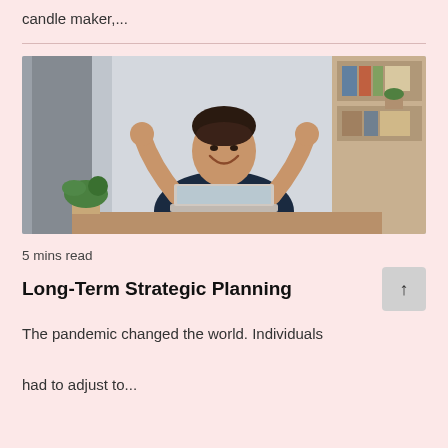candle maker,...
[Figure (photo): A woman in a dark polka-dot blouse sitting at a desk with a laptop, raising both fists in a celebratory gesture. Bookshelves and curtains are visible in the background.]
5 mins read
Long-Term Strategic Planning
The pandemic changed the world. Individuals had to adjust to...